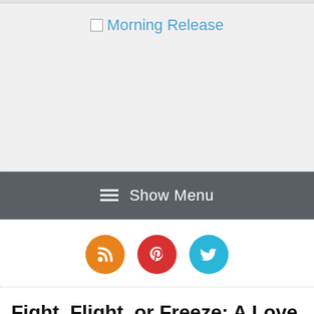Morning Release
≡ Show Menu
[Figure (infographic): Three social media icon buttons: RSS (orange), Pinterest (red), Twitter (blue)]
Fight, Flight, or Freeze: A Love Story Honored as a Finalist in International Book Contest